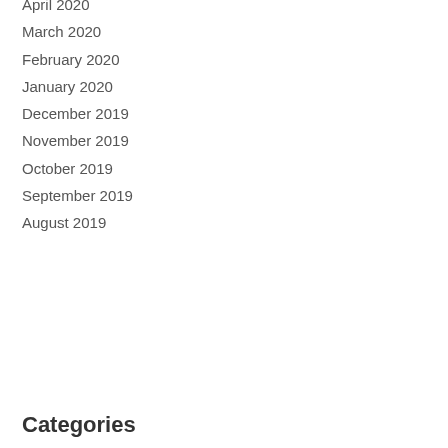April 2020
March 2020
February 2020
January 2020
December 2019
November 2019
October 2019
September 2019
August 2019
Categories